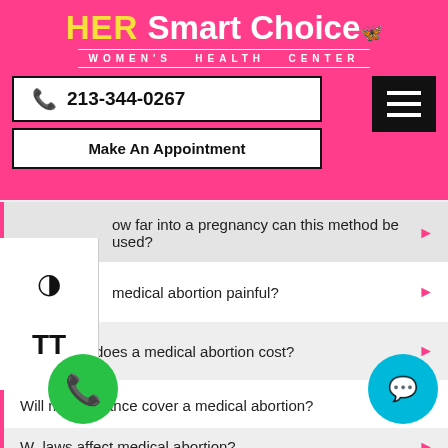HER Smart Choice — Women's Health Center
213-344-0267
Make An Appointment
How far into a pregnancy can this method be used?
Is a medical abortion painful?
How much does a medical abortion cost?
Will my insurance cover a medical abortion?
What laws affect medical abortion?